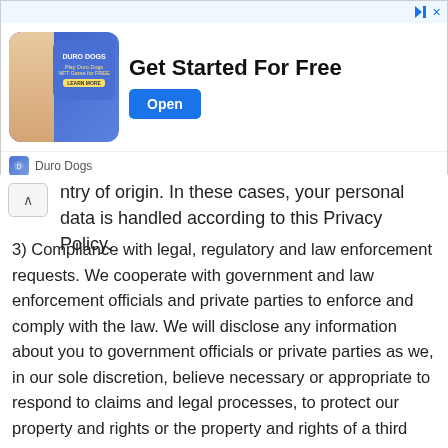[Figure (infographic): Advertisement banner for Duro Dogs NFT game. Blue background with a woman and game logo. Text reads 'Get Started For Free' with an 'Open' button.]
ntry of origin. In these cases, your personal data is handled according to this Privacy Policy.
3) Compliance with legal, regulatory and law enforcement requests. We cooperate with government and law enforcement officials and private parties to enforce and comply with the law. We will disclose any information about you to government officials or private parties as we, in our sole discretion, believe necessary or appropriate to respond to claims and legal processes, to protect our property and rights or the property and rights of a third party, to protect the safety of the public or any person, or to prevent or stop activity we consider to be illegal or unethical.